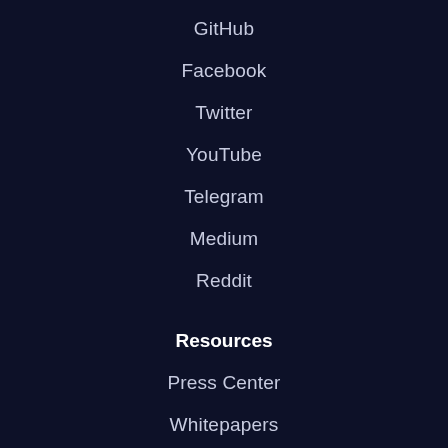GitHub
Facebook
Twitter
YouTube
Telegram
Medium
Reddit
Resources
Press Center
Whitepapers
Documentation